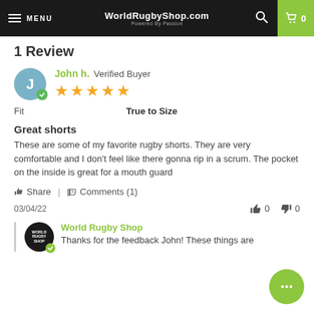WorldRugbyShop.com – Powered By Passion
1 Review
John h. Verified Buyer ★★★★★
Fit  True to Size
Great shorts
These are some of my favorite rugby shorts. They are very comfortable and I don't feel like there gonna rip in a scrum. The pocket on the inside is great for a mouth guard
Share | Comments (1)
03/04/22  👍 0  👎 0
World Rugby Shop – Thanks for the feedback John! These things are